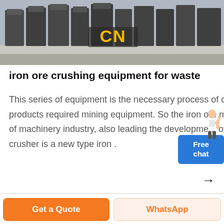[Figure (photo): Industrial machinery/crushing equipment lined up in a warehouse or yard, with yellow 'CN' logo text visible in the center of the image.]
iron ore crushing equipment for waste
This series of equipment is the necessary process of ore processed into many industries required materials products required mining equipment. So the iron ore market development, not only lead to the development of machinery industry, also leading the development of the crusher and other crushing equipment. Mobile crusher is a new type iron .